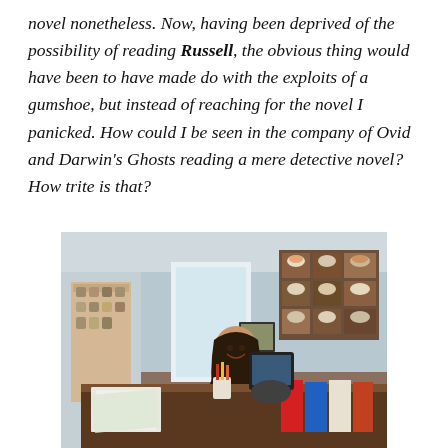novel nonetheless. Now, having been deprived of the possibility of reading Russell, the obvious thing would have been to have made do with the exploits of a gumshoe, but instead of reaching for the novel I panicked. How could I be seen in the company of Ovid and Darwin's Ghosts reading a mere detective novel? How trite is that?
[Figure (photo): A woman with long dark hair sitting and smiling behind a large wooden desk covered with books, papers, and office items. Behind her are shelves with jars and a wall-mounted wooden display with cups/candles. The setting appears to be a small shop or office.]